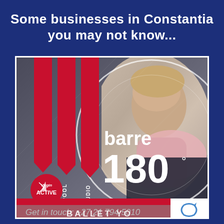Some businesses in Constantia you may not know...
[Figure (infographic): Virgin Active gym advertisement featuring a fitness woman, red vertical banners reading CLUB V, LAP POOL, RIDE STUDIO, barre 180 degrees branding, Virgin Active logo, and contact information: Get in touch: +27 21 794 5010. Bottom strip reads BALLET YO...]